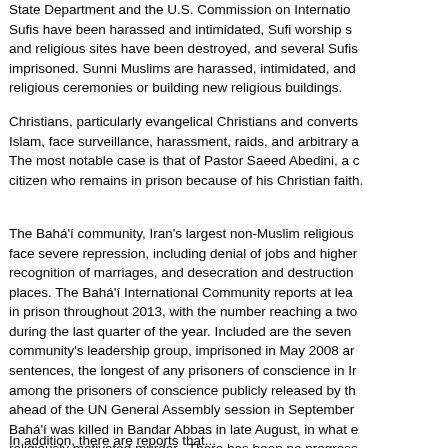State Department and the U.S. Commission on International... Sufis have been harassed and intimidated, Sufi worship s... and religious sites have been destroyed, and several Sufis imprisoned. Sunni Muslims are harassed, intimidated, and... religious ceremonies or building new religious buildings.
Christians, particularly evangelical Christians and converts from Islam, face surveillance, harassment, raids, and arbitrary a... The most notable case is that of Pastor Saeed Abedini, a ... citizen who remains in prison because of his Christian faith.
The Bahá'í community, Iran's largest non-Muslim religious... face severe repression, including denial of jobs and higher... recognition of marriages, and desecration and destruction... places. The Bahá'í International Community reports at lea... in prison throughout 2013, with the number reaching a two... during the last quarter of the year. Included are the seven community's leadership group, imprisoned in May 2008 ar... sentences, the longest of any prisoners of conscience in Ir... among the prisoners of conscience publicly released by th... ahead of the UN General Assembly session in September Bahá'í was killed in Bandar Abbas in late August, in what e... religiously motivated murder. There has been no progress... investigation of his death.
In addition, there are reports that...